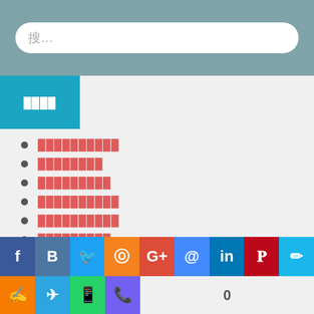[Figure (screenshot): Search bar input field with placeholder text, rounded rectangle on teal/grey background]
████
██████████
████████
█████████
██████████
██████████
█████████
█████████
█████████
[Figure (screenshot): Social media sharing buttons bar: Facebook, VK, Twitter, Odnoklassniki, Google+, Mail, LinkedIn, Pinterest, and more, plus share count 0]